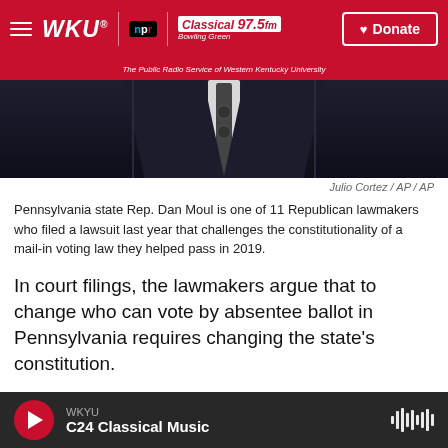WKU NPR | Classical 97.5 FM Bowling Green | The Public Radio Service of Western Kentucky University | Donate
[Figure (photo): Man in dark pinstripe suit with white shirt and dark tie, photo credit: Julio Cortez / AP / AP]
Julio Cortez / AP / AP
Pennsylvania state Rep. Dan Moul is one of 11 Republican lawmakers who filed a lawsuit last year that challenges the constitutionality of a mail-in voting law they helped pass in 2019.
In court filings, the lawmakers argue that to change who can vote by absentee ballot in Pennsylvania requires changing the state's constitution.
But the governor's administration counters that the state constitution allows lawmakers to determine
WKYU | C24 Classical Music